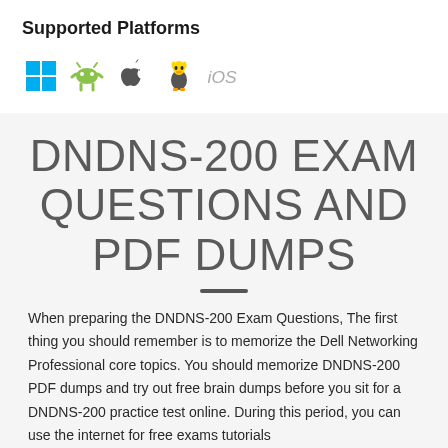Supported Platforms
[Figure (illustration): Row of platform icons: Windows, Android, Apple/macOS, Linux, iOS]
DNDNS-200 EXAM QUESTIONS AND PDF DUMPS
When preparing the DNDNS-200 Exam Questions, The first thing you should remember is to memorize the Dell Networking Professional core topics. You should memorize DNDNS-200 PDF dumps and try out free brain dumps before you sit for a DNDNS-200 practice test online. During this period, you can use the internet for free exams tutorials